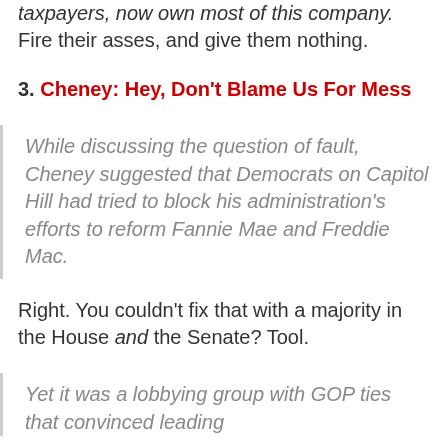taxpayers, now own most of this company. Fire their asses, and give them nothing.
3. Cheney: Hey, Don't Blame Us For Mess
While discussing the question of fault, Cheney suggested that Democrats on Capitol Hill had tried to block his administration's efforts to reform Fannie Mae and Freddie Mac.
Right. You couldn't fix that with a majority in the House and the Senate? Tool.
Yet it was a lobbying group with GOP ties that convinced leading